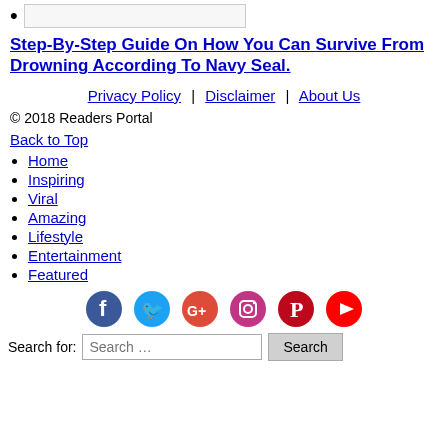Step-By-Step Guide On How You Can Survive From Drowning According To Navy Seal.
Privacy Policy | Disclaimer | About Us
© 2018 Readers Portal
Back to Top
Home
Inspiring
Viral
Amazing
Lifestyle
Entertainment
Featured
[Figure (infographic): Social media icons: Facebook, Twitter, Google+, Instagram, Pinterest, YouTube]
Search for: Search ...  Search